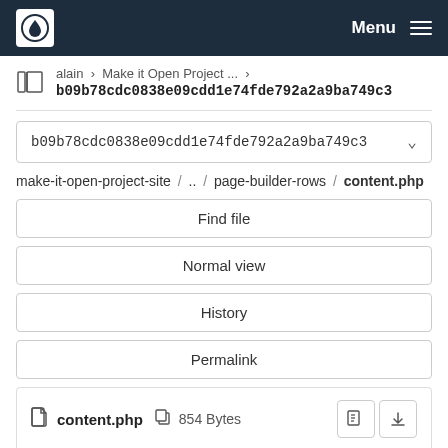Menu
alain › Make it Open Project ... ›
b09b78cdc0838e09cdd1e74fde792a2a9ba749c3
b09b78cdc0838e09cdd1e74fde792a2a9ba749c3
make-it-open-project-site / .. / page-builder-rows / content.php
Find file
Normal view
History
Permalink
content.php  854 Bytes
Newer  Older